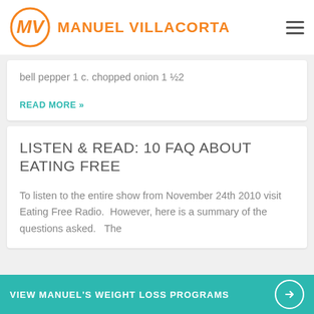MANUEL VILLACORTA
bell pepper 1 c. chopped onion 1 ½2
READ MORE »
LISTEN & READ: 10 FAQ ABOUT EATING FREE
To listen to the entire show from November 24th 2010 visit Eating Free Radio.  However, here is a summary of the questions asked.   The
VIEW MANUEL'S WEIGHT LOSS PROGRAMS